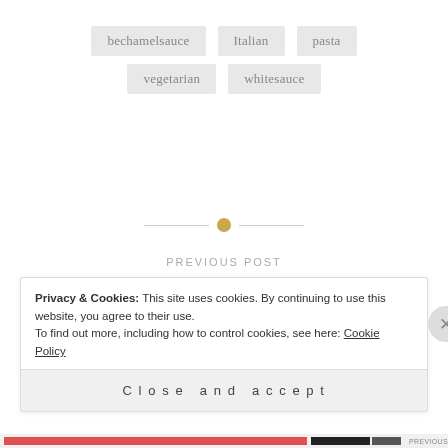bechamelsauce
Italian
pasta
vegetarian
whitesauce
PREVIOUS POST
Rajasthani delight: The famous Dal-Baati ( Baked whole-wheat dough balls, served with spicy lentils and accompaniments)
Privacy & Cookies: This site uses cookies. By continuing to use this website, you agree to their use.
To find out more, including how to control cookies, see here: Cookie Policy
Close and accept